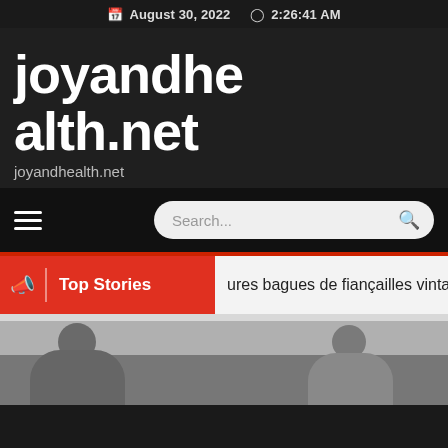August 30, 2022  2:26:41 AM
joyandhealth.net
joyandhealth.net
[Figure (screenshot): Navigation bar with hamburger menu and search box]
Top Stories
ures bagues de fiançailles vinta
[Figure (photo): Two people visible from the shoulders up, in a light indoor setting]